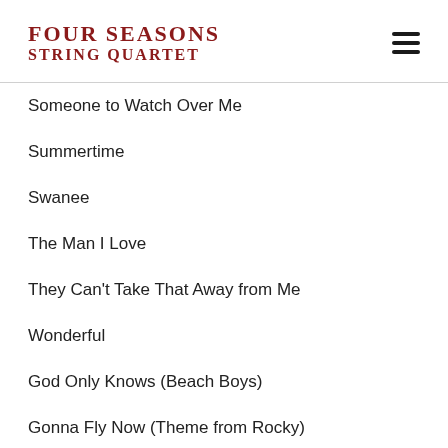FOUR SEASONS STRING QUARTET
Someone to Watch Over Me
Summertime
Swanee
The Man I Love
They Can't Take That Away from Me
Wonderful
God Only Knows (Beach Boys)
Gonna Fly Now (Theme from Rocky)